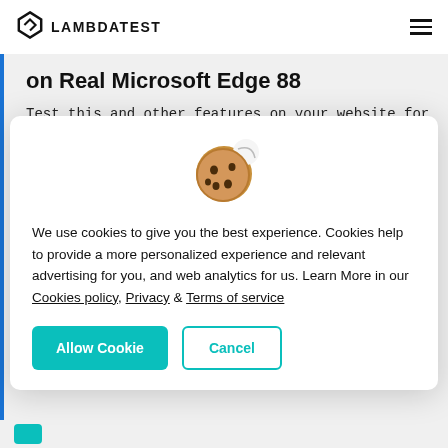LAMBDATEST
on Real Microsoft Edge 88
Test this and other features on your website for compatibility across 3,000 real browsers and devices using
[Figure (illustration): Cookie emoji icon — a round brown cookie with chocolate chip bites taken out]
We use cookies to give you the best experience. Cookies help to provide a more personalized experience and relevant advertising for you, and web analytics for us. Learn More in our Cookies policy, Privacy & Terms of service
Allow Cookie   Cancel